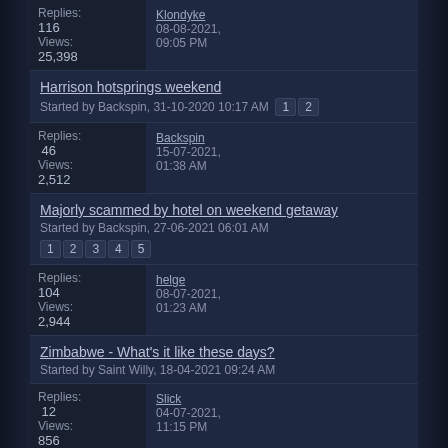Replies: Klondyke
116
Views: 25,398
08-08-2021, 09:05 PM
Harrison hotsprings weekend
Started by Backspin, 31-10-2020 10:17 AM  1 2
Replies: Backspin
46
Views: 2,512
15-07-2021, 01:38 AM
Majorly scammed by hotel on weekend getaway
Started by Backspin, 27-06-2021 06:01 AM
1 2 3 4 5
Replies: helge
104
Views: 2,944
08-07-2021, 01:23 AM
Zimbabwe - What's it like these days?
Started by Saint Willy, 18-04-2021 09:24 AM
Replies: Slick
12
Views: 856
04-07-2021, 11:15 PM